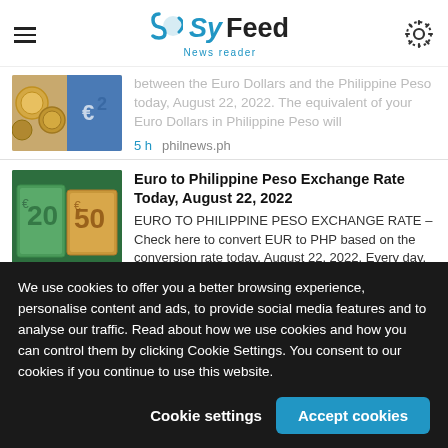SyFeed News reader
between the Euro Dollars and the Philippine Peso today, August 22, 2022. The equivalent of your Euro Dollars in Philippine Peso will
5 h   philnews.ph
Euro to Philippine Peso Exchange Rate Today, August 22, 2022
EURO TO PHILIPPINE PESO EXCHANGE RATE – Check here to convert EUR to PHP based on the conversion rate today, August 22, 2022. Every day, the exchange rates of the different
We use cookies to offer you a better browsing experience, personalise content and ads, to provide social media features and to analyse our traffic. Read about how we use cookies and how you can control them by clicking Cookie Settings. You consent to our cookies if you continue to use this website.
Cookie settings   Accept cookies